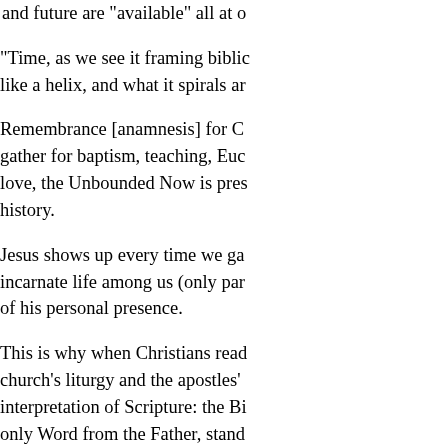and future are "available" all at o
"Time, as we see it framing biblic like a helix, and what it spirals ar
Remembrance [anamnesis] for C gather for baptism, teaching, Euc love, the Unbounded Now is pres history.
Jesus shows up every time we ga incarnate life among us (only par of his personal presence.
This is why when Christians read church's liturgy and the apostles' interpretation of Scripture: the Bi only Word from the Father, stand
We encounter the word of God in the same way Jesus is the Word
The S...